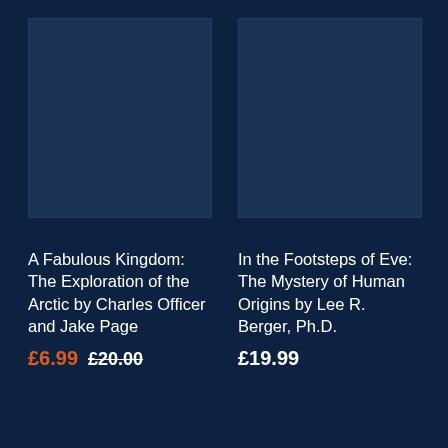[Figure (illustration): Book cover placeholder — dark navy blue rectangle for 'A Fabulous Kingdom']
[Figure (illustration): Book cover placeholder — dark navy blue rectangle for 'In the Footsteps of Eve']
A Fabulous Kingdom: The Exploration of the Arctic by Charles Officer and Jake Page
£6.99  £20.00
In the Footsteps of Eve: The Mystery of Human Origins by Lee R. Berger, Ph.D.
£19.99